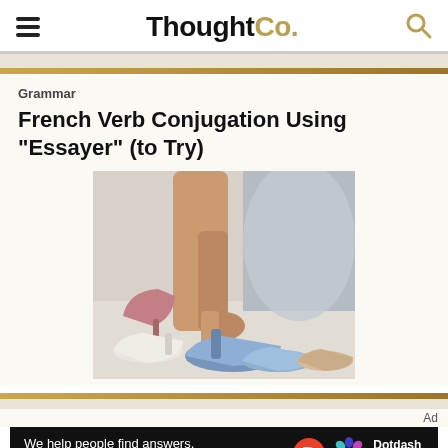ThoughtCo.
Grammar
French Verb Conjugation Using "Essayer" (to Try)
[Figure (photo): Person trying on high-heeled shoes, with multiple shoes scattered on the floor including pink, blue, and beige heels]
Ad
[Figure (illustration): Dotdash Meredith advertisement banner: 'We help people find answers, solve problems and get inspired.' with Dotdash D logo and Meredith flower logo]